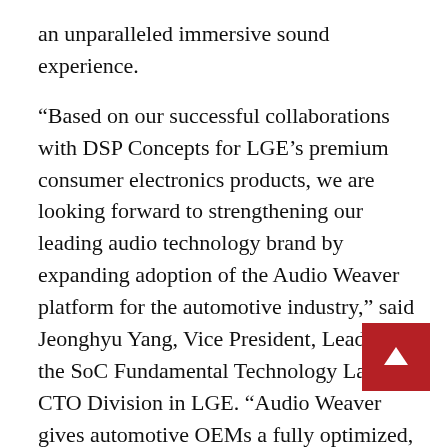an unparalleled immersive sound experience.
“Based on our successful collaborations with DSP Concepts for LGE’s premium consumer electronics products, we are looking forward to strengthening our leading audio technology brand by expanding adoption of the Audio Weaver platform for the automotive industry,” said Jeonghyu Yang, Vice President, Leader of the SoC Fundamental Technology Lab at CTO Division in LGE. “Audio Weaver gives automotive OEMs a fully optimized, hardware-independent audio framework that streamlines the integration of advanced processing algorithms making it easy to enhance the audio experience for drivers and passengers.”
The two companies plan to continue the collaboration to make additional machine learning-